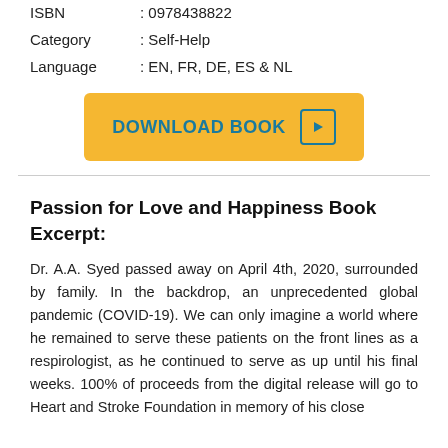| ISBN | : 0978438822 |
| Category | : Self-Help |
| Language | : EN, FR, DE, ES & NL |
[Figure (other): Yellow download button with teal text 'DOWNLOAD BOOK' and a play icon]
Passion for Love and Happiness Book Excerpt:
Dr. A.A. Syed passed away on April 4th, 2020, surrounded by family. In the backdrop, an unprecedented global pandemic (COVID-19). We can only imagine a world where he remained to serve these patients on the front lines as a respirologist, as he continued to serve as up until his final weeks. 100% of proceeds from the digital release will go to Heart and Stroke Foundation in memory of his close